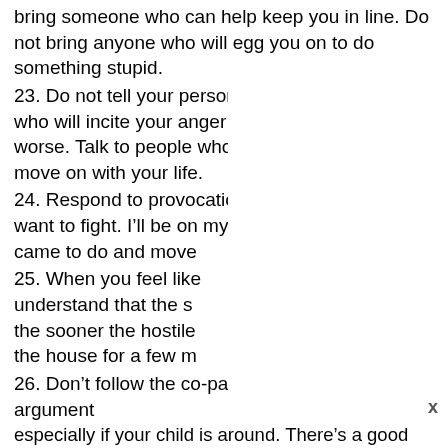bring someone who can help keep you in line. Do not bring anyone who will egg you on to do something stupid.
23. Do not tell your personal business to people who will incite your anger and make you feel worse. Talk to people who will help you cope and move on with your life.
24. Respond to provocation by saying, “I don’t want to fight. I’ll be on my way came to do and move
25. When you feel like understand that the s the sooner the hostile the house for a few m
26. Don’t follow the co-parent around after an argument especially if your child is around. There’s a good chance